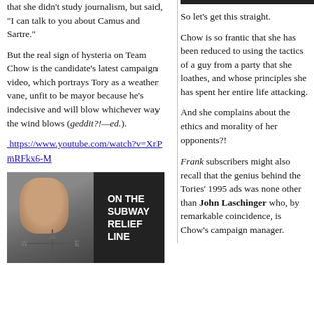that she didn't study journalism, but said, "I can talk to you about Camus and Sartre."
But the real sign of hysteria on Team Chow is the candidate's latest campaign video, which portrays Tory as a weather vane, unfit to be mayor because he's indecisive and will blow whichever way the wind blows (geddit?!—ed.).
https://www.youtube.com/watch?v=XrPmRFkx6-M
[Figure (screenshot): Video screenshot showing a man's face next to text reading 'ON THE SUBWAY RELIEF LINE' on dark background, with a weather vane shape below]
[Figure (screenshot): Dark bar at top of right column]
So let's get this straight.
Chow is so frantic that she has been reduced to using the tactics of a guy from a party that she loathes, and whose principles she has spent her entire life attacking.
And she complains about the ethics and morality of her opponents?!
Frank subscribers might also recall that the genius behind the Tories' 1995 ads was none other than John Laschinger who, by remarkable coincidence, is Chow's campaign manager.